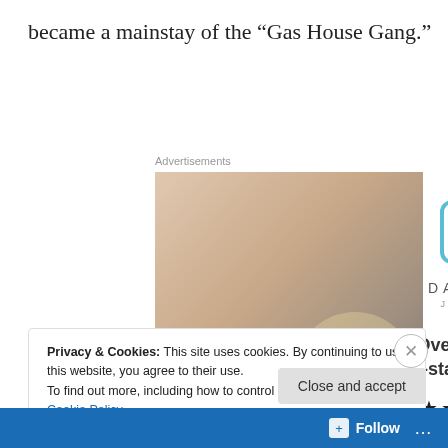became a mainstay of the “Gas House Gang.”
Advertisements
[Figure (photo): Person photographing a sunset with a smartphone or camera, viewed from behind, wearing a white t-shirt]
[Figure (logo): Day One Journal advertisement: logo icon (bookmark in square), text DAYONE JOURNAL, Over 150,000 5-star reviews, five stars]
Privacy & Cookies: This site uses cookies. By continuing to use this website, you agree to their use.
To find out more, including how to control cookies, see here: Cookie Policy
Close and accept
Follow